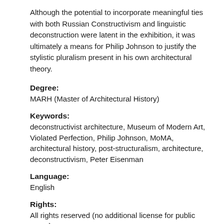Although the potential to incorporate meaningful ties with both Russian Constructivism and linguistic deconstruction were latent in the exhibition, it was ultimately a means for Philip Johnson to justify the stylistic pluralism present in his own architectural theory.
Degree:
MARH (Master of Architectural History)
Keywords:
deconstructivist architecture, Museum of Modern Art, Violated Perfection, Philip Johnson, MoMA, architectural history, post-structuralism, architecture, deconstructivism, Peter Eisenman
Language:
English
Rights:
All rights reserved (no additional license for public reuse)
Issued Date:
2015/04/29
Persistent link: